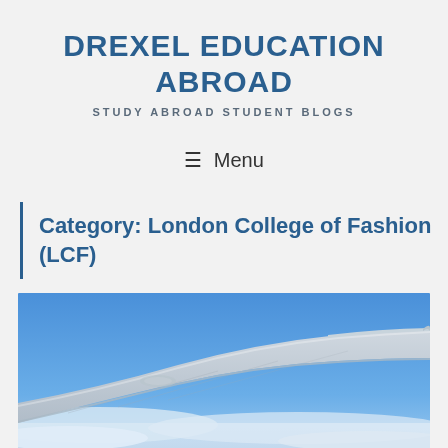DREXEL EDUCATION ABROAD
STUDY ABROAD STUDENT BLOGS
☰ Menu
Category: London College of Fashion (LCF)
[Figure (photo): View from airplane window showing the wing of an aircraft over blue sky and white clouds below]